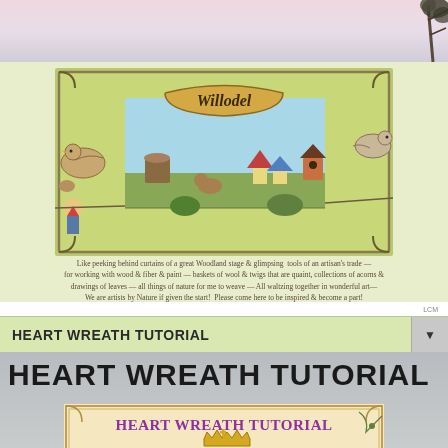[Figure (illustration): Willodel website header banner with woodland creatures, birdhouses, mushrooms, and decorative art nouveau frame on green background. Birds and gnome figures flank the sides.]
Like peeking behind curtains of a great Woodland stage & glimpsing tools of an artisan's trade — for working with wood & fiber & paint — baskets of wool & twigs that are quaint, collections of acorns & drawings of leaves — all things of nature for me to weave — All waltzing together in wonderful art— We are artists by Nature if given the start! Please come here to be inspired & become a part!
HEART WREATH TUTORIAL
HEART WREATH TUTORIAL
[Figure (illustration): Heart Wreath Tutorial decorative card image showing a floral heart wreath with roses and small flowers, crowned with a golden crown, on a cream background with art nouveau border styling and the text 'HEART WREATH TUTORIAL' in purple lettering at the top.]